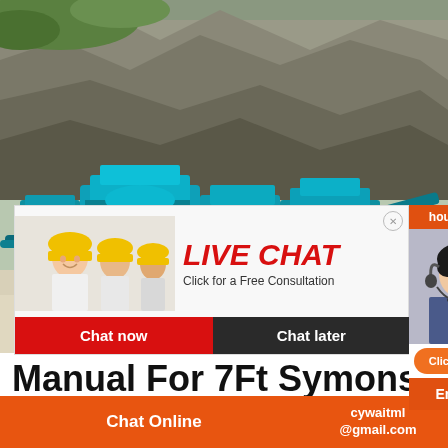[Figure (photo): Large industrial cone crusher machine in teal/turquoise color positioned in front of rocky cliff quarry site, with sandy/gravel ground.]
[Figure (screenshot): Live Chat popup overlay showing three workers in yellow hard hats, red LIVE CHAT text, 'Click for a Free Consultation' subtitle, and Chat now / Chat later buttons. Right side shows customer service agent with headset, hour online label, click to chat button, Enquiry bar, and cywaitml@gmail.com email.]
Manual For 7Ft Symons Crusher
2020-6-22  Cone Crusher Manual Of 4 Ft crushers zenith spare parts 2ft simons cone
Chat Online  cywaitml@gmail.com